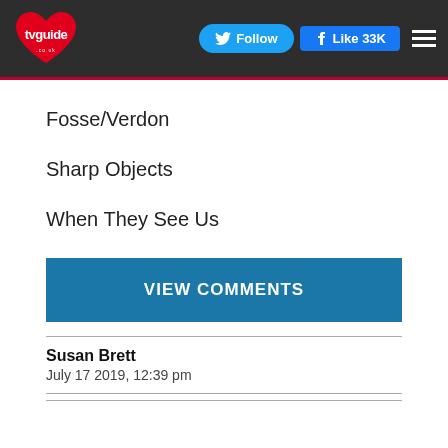tvguide | Follow | Like 33K
Fosse/Verdon
Sharp Objects
When They See Us
VIEW COMMENTS
Susan Brett
July 17 2019, 12:39 pm